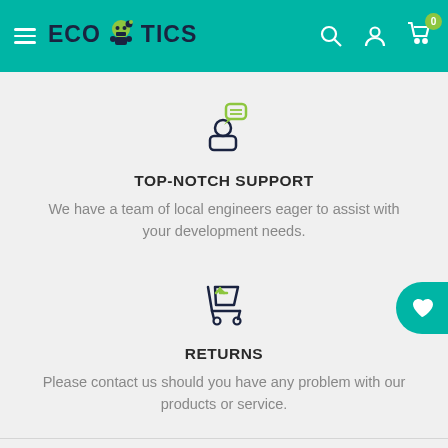ECOROBOTICS
[Figure (illustration): Customer support icon: person silhouette with speech bubble above, drawn in dark navy and green outline style]
TOP-NOTCH SUPPORT
We have a team of local engineers eager to assist with your development needs.
[Figure (illustration): Returns icon: shopping cart with a return/back arrow, drawn in dark navy outline style]
RETURNS
Please contact us should you have any problem with our products or service.
ABOUT THIS SHOP